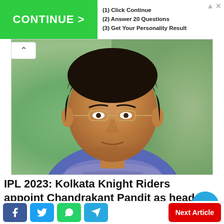[Figure (infographic): Advertisement banner with green CONTINUE > button on left, and steps (1) Click Continue (2) Answer 20 Questions (3) Get Your Personality Result on right]
[Figure (photo): Portrait photo of Chandrakant Pandit, a middle-aged Indian man wearing glasses and a purple/blue patterned shirt, with blurred green background]
IPL 2023: Kolkata Knight Riders appoint Chandrakant Pandit as head coach
[Figure (photo): Partial bottom photo strip showing cricket-related imagery]
[Figure (infographic): Social share bar with Facebook, Twitter, WhatsApp, Telegram buttons and Next Article button in red]